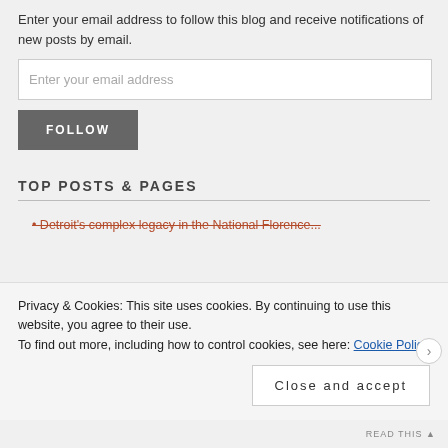Enter your email address to follow this blog and receive notifications of new posts by email.
Enter your email address
FOLLOW
TOP POSTS & PAGES
Detroit's complex legacy in the National Florence...
Privacy & Cookies: This site uses cookies. By continuing to use this website, you agree to their use.
To find out more, including how to control cookies, see here: Cookie Policy
Close and accept